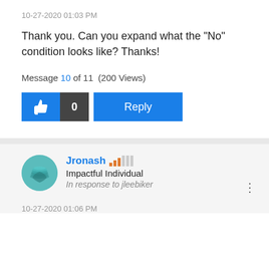10-27-2020 01:03 PM
Thank you. Can you expand what the "No" condition looks like? Thanks!
Message 10 of 11 (200 Views)
[Figure (screenshot): Like button with thumbs up icon and count 0, and a Reply button]
Jronash Impactful Individual In response to jleebiker
10-27-2020 01:06 PM